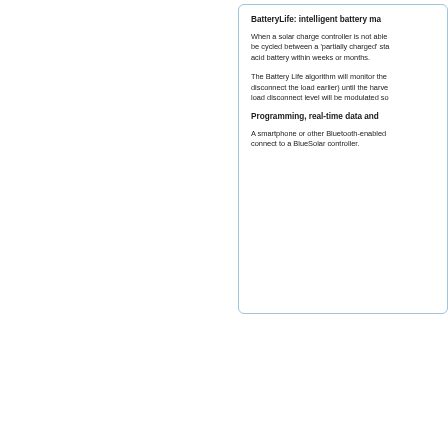BatteryLife: intelligent battery ma
When a solar charge controller is not able be cycled between a 'partially charged' sta acid battery within weeks or months.
The Battery Life algorithm will monitor the disconnect the load earlier) until the harve load disconnect level will be modulated so
Programming, real-time data and
A smartphone or other Bluetooth-enabled connect to a BlueSolar controller.